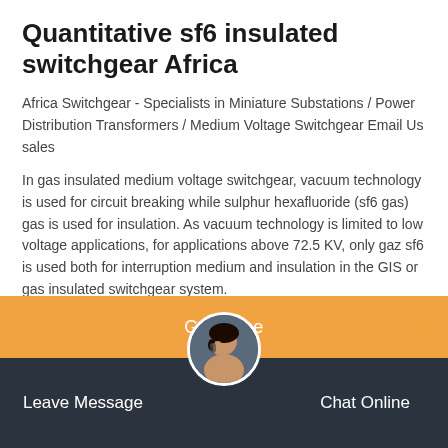Quantitative sf6 insulated switchgear Africa
Africa Switchgear - Specialists in Miniature Substations / Power Distribution Transformers / Medium Voltage Switchgear Email Us sales
In gas insulated medium voltage switchgear, vacuum technology is used for circuit breaking while sulphur hexafluoride (sf6 gas) gas is used for insulation. As vacuum technology is limited to low voltage applications, for applications above 72.5 KV, only gaz sf6 is used both for interruption medium and insulation in the GIS or gas insulated switchgear system.
[Figure (other): Orange 'Get Price' button bar]
[Figure (other): Dark bottom navigation bar with 'Leave Message' and 'Chat Online' buttons, and a circular avatar photo of a woman with headset in the center]